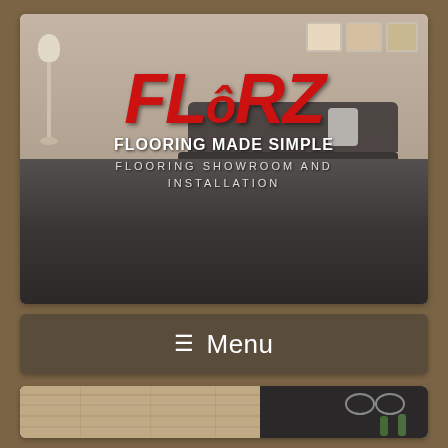[Figure (photo): Hero banner showing a flooring showroom interior with dark hardwood floors and a leather sofa. Red italic logo text 'FLôRZ' overlaid, with taglines 'FLOORING MADE SIMPLE' and 'FLOORING SHOWROOM AND INSTALLATION'.]
FLôRZ
FLOORING MADE SIMPLE
FLOORING SHOWROOM AND INSTALLATION
≡ Menu
[Figure (photo): Partial view of flooring samples showing light wood planks and a dark surface with glasses visible at right edge.]